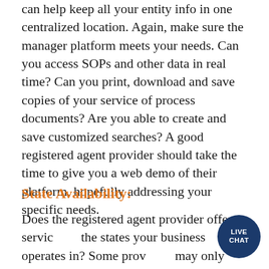can help keep all your entity info in one centralized location. Again, make sure the manager platform meets your needs. Can you access SOPs and other data in real time? Can you print, download and save copies of your service of process documents? Are you able to create and save customized searches? A good registered agent provider should take the time to give you a web demo of their platform, hopefully addressing your specific needs.
State Availability:
Does the registered agent provider offer services in the states your business operates in? Some providers may only offer services in select states. Conversely, some providers also offer services outside the...